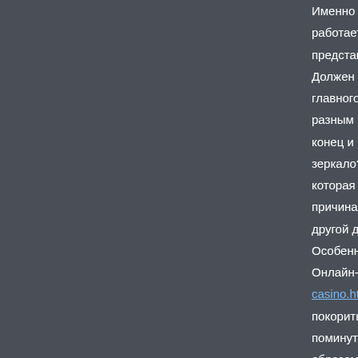Именно для таких ситуаций соз... работает на замене основного с... представить новичка азартного... Должен мгновенно ввести в кур... главного сайта происходит дов... разным причинам, даже госуда... конец и в свое век начинает фу... зеркало? Это 100%-ная воспро... которая сохраняет тот же интер... причина каждого игрока. Прост... другой домен. Особенности казино casinomax... Онлайн-развлечение https://cas... casino.html давеча появилось н... покорить сердца многих пользо... поминутно растет. Проверяя са... образом, привлекая молодежь ... проста, будто и у другого ново... приветственными бонусами, ак... другим. На официальном сайте пользов... автоматов, слотов и реальных...